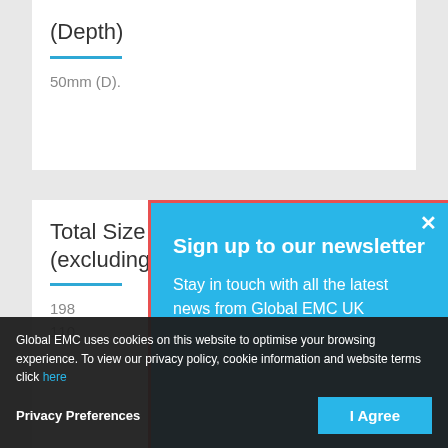(Depth)
50mm (D).
Total Size (excluding hinges)
198[...]
110[...]
[Figure (screenshot): Newsletter signup popup overlay with blue background, title 'Sign up to our newsletter', body text 'Stay in touch with all the latest news from Global EMC UK', red border, close X button]
Global EMC uses cookies on this website to optimise your browsing experience. To view our privacy policy, cookie information and website terms click here
Privacy Preferences
I Agree